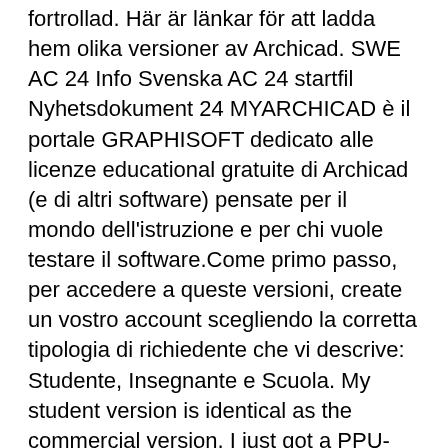fortrollad. Här är länkar för att ladda hem olika versioner av Archicad. SWE AC 24 Info Svenska AC 24 startfil Nyhetsdokument 24 MYARCHICAD è il portale GRAPHISOFT dedicato alle licenze educational gratuite di Archicad (e di altri software) pensate per il mondo dell'istruzione e per chi vuole testare il software.Come primo passo, per accedere a queste versioni, create un vostro account scegliendo la corretta tipologia di richiedente che vi descrive: Studente, Insegnante e Scuola. My student version is identical as the commercial version, I just got a PPU-dongle, with still some vagueness on the ability to reload it when it stops working.
$2045. $34. ArchiCAD pay per month.
System engineer jobs